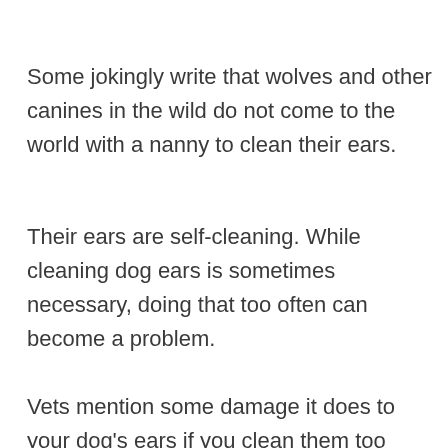Some jokingly write that wolves and other canines in the wild do not come to the world with a nanny to clean their ears.
Their ears are self-cleaning. While cleaning dog ears is sometimes necessary, doing that too often can become a problem.
Vets mention some damage it does to your dog's ears if you clean them too often:
It disturbs the healthy flora of the ear and